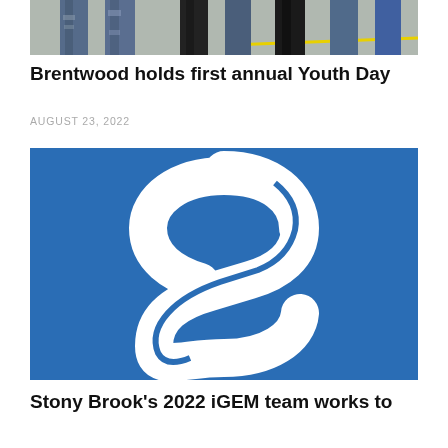[Figure (photo): Group of young people standing together, lower halves visible, wearing jeans including ripped jeans, indoor setting with yellow floor marking]
Brentwood holds first annual Youth Day
AUGUST 23, 2022
[Figure (logo): Large white letter S on a blue background, stylized logo for Stony Brook]
Stony Brook's 2022 iGEM team works to